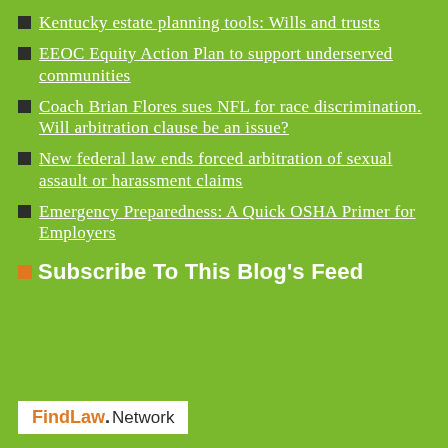Kentucky estate planning tools: Wills and trusts
EEOC Equity Action Plan to support underserved communities
Coach Brian Flores sues NFL for race discrimination. Will arbitration clause be an issue?
New federal law ends forced arbitration of sexual assault or harassment claims
Emergency Preparedness: A Quick OSHA Primer for Employers
Subscribe To This Blog's Feed
[Figure (logo): FindLaw Network logo — orange FindLaw text with dot, then Network in dark text on white background]